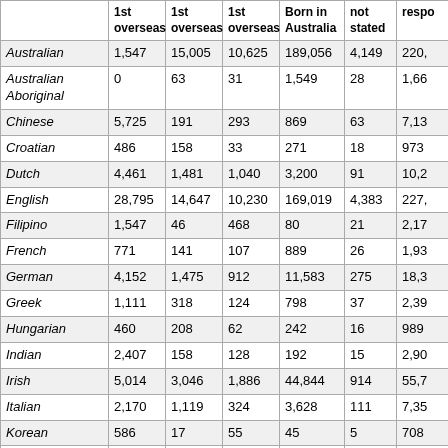|  | 1st overseas | 1st overseas | 1st overseas | Born in Australia | not stated | respo |
| --- | --- | --- | --- | --- | --- | --- |
| Australian | 1,547 | 15,005 | 10,625 | 189,056 | 4,149 | 220, |
| Australian Aboriginal | 0 | 63 | 31 | 1,549 | 28 | 1,66 |
| Chinese | 5,725 | 191 | 293 | 869 | 63 | 7,13 |
| Croatian | 486 | 158 | 33 | 271 | 18 | 973 |
| Dutch | 4,461 | 1,481 | 1,040 | 3,200 | 91 | 10,2 |
| English | 28,795 | 14,647 | 10,230 | 169,019 | 4,383 | 227, |
| Filipino | 1,547 | 46 | 468 | 80 | 21 | 2,17 |
| French | 771 | 141 | 107 | 889 | 26 | 1,93 |
| German | 4,152 | 1,475 | 912 | 11,583 | 275 | 18,3 |
| Greek | 1,111 | 318 | 124 | 798 | 37 | 2,39 |
| Hungarian | 460 | 208 | 62 | 242 | 16 | 989 |
| Indian | 2,407 | 158 | 128 | 192 | 15 | 2,90 |
| Irish | 5,014 | 3,046 | 1,886 | 44,844 | 914 | 55,7 |
| Italian | 2,170 | 1,119 | 324 | 3,628 | 111 | 7,35 |
| Korean | 586 | 17 | 55 | 45 | 5 | 708 |
| Lebanese | 165 | 65 | 16 | 85 | 0 | 329 |